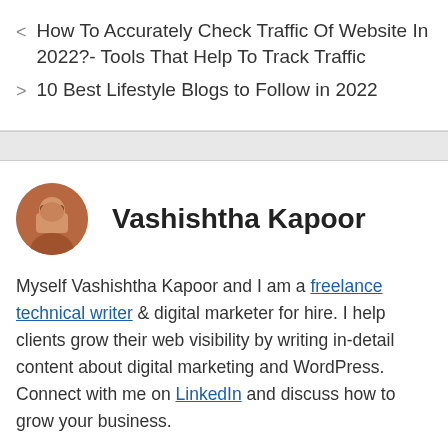< How To Accurately Check Traffic Of Website In 2022?- Tools That Help To Track Traffic
> 10 Best Lifestyle Blogs to Follow in 2022
Vashishtha Kapoor
Myself Vashishtha Kapoor and I am a freelance technical writer & digital marketer for hire. I help clients grow their web visibility by writing in-detail content about digital marketing and WordPress. Connect with me on LinkedIn and discuss how to grow your business.